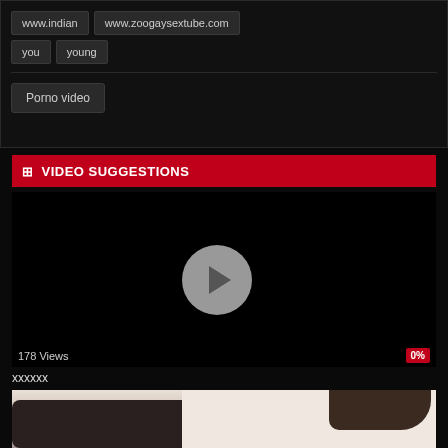www.indian
www.zoogaysextube.com
you
young
Porno video
VIDEO SUGGESTIONS
[Figure (screenshot): Video thumbnail with play button, showing 178 Views and 0% rating badge]
xxxxxx
[Figure (photo): Person with dark hair leaning over, wearing white knit sweater, dark arm visible on left]